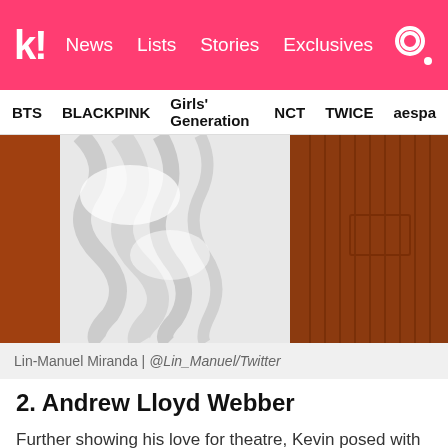k! News Lists Stories Exclusives
BTS BLACKPINK Girls' Generation NCT TWICE aespa
[Figure (photo): Close-up photo of ruffled white fabric and rust/brown corduroy jacket]
Lin-Manuel Miranda | @Lin_Manuel/Twitter
2. Andrew Lloyd Webber
Further showing his love for theatre, Kevin posed with musical composer Andrew Lloyd Webber's star.